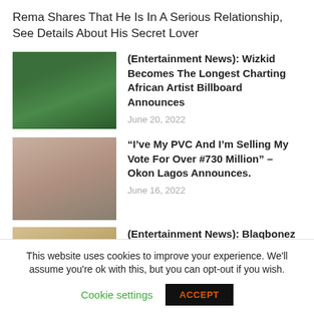Rema Shares That He Is In A Serious Relationship, See Details About His Secret Lover
(Entertainment News): Wizkid Becomes The Longest Charting African Artist Billboard Announces
June 20, 2022
“I’ve My PVC And I’m Selling My Vote For Over #730 Million” – Okon Lagos Announces.
June 16, 2022
(Entertainment News): Blaqbonez
This website uses cookies to improve your experience. We'll assume you're ok with this, but you can opt-out if you wish.
Cookie settings   ACCEPT